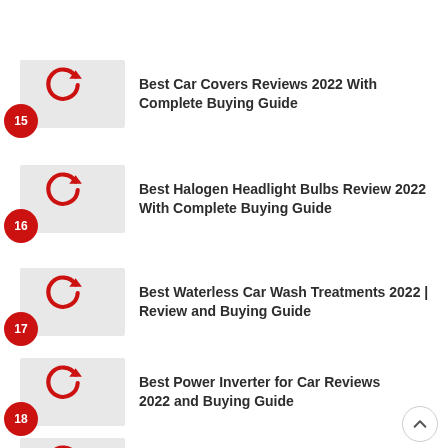Best Car Covers Reviews 2022 With Complete Buying Guide
Best Halogen Headlight Bulbs Review 2022 With Complete Buying Guide
Best Waterless Car Wash Treatments 2022 | Review and Buying Guide
Best Power Inverter for Car Reviews 2022 and Buying Guide
Best Auto Glass Cleaner Reviews 2022 with Complete Buying Guide